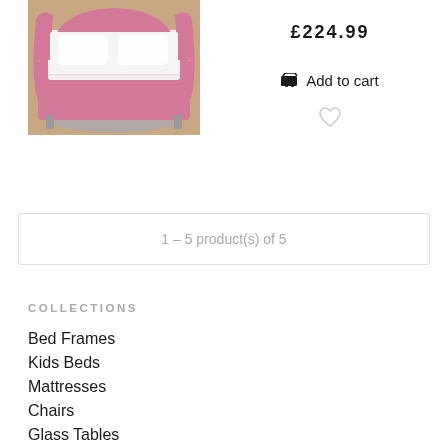[Figure (photo): Pink crushed velvet bed frame with white bedding, photographed on a wooden floor with grey rug]
£224.99
Add to cart
1 – 5 product(s) of 5
COLLECTIONS
Bed Frames
Kids Beds
Mattresses
Chairs
Glass Tables